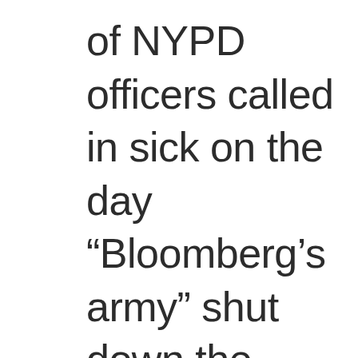of NYPD officers called in sick on the day “Bloomberg’s army” shut down the Zuccotti Park encampment. We